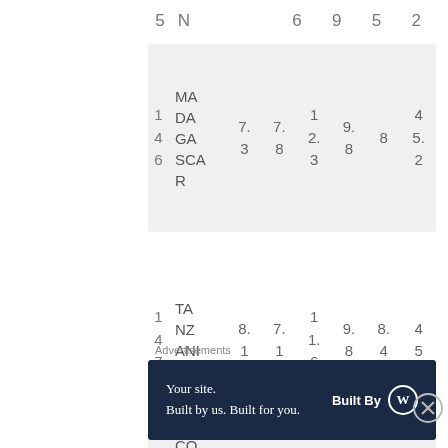| Rank | Country | Col3 | Col4 | Col5 | Col6 | Col7 | Col8 |
| --- | --- | --- | --- | --- | --- | --- | --- |
| 5 | N |  | 6 | 9 | 5 | 2 |
| 146 | MADAGASCAR | 7.3 | 7.8 | 12.3 | 9.8 | 8 | 45.2 |
| 147 | TANZANIA | 8.1 | 7.1 | 11.6 | 9.8 | 8.4 | 45 |
| 1 4 ∧ | REPCO | 8. | 7. | 1 1 1 | 1 | 6. | 4 |
Advertisements
[Figure (other): Advertisement banner: Your site. Built by us. Built for you. Built By WordPress]